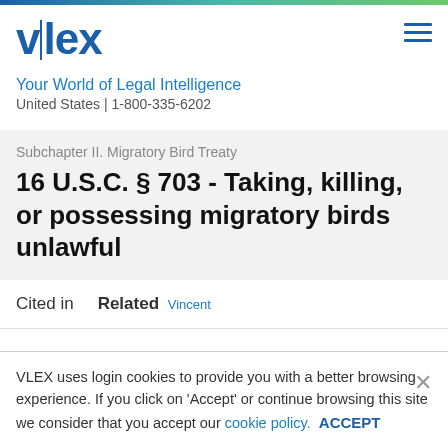[Figure (logo): vlex logo with blue text and vertical separator bar]
Your World of Legal Intelligence
United States | 1-800-335-6202
Subchapter II. Migratory Bird Treaty
16 U.S.C. § 703 - Taking, killing, or possessing migratory birds unlawful
Cited in   Related   Vincent
VLEX uses login cookies to provide you with a better browsing experience. If you click on 'Accept' or continue browsing this site we consider that you accept our cookie policy.   ACCEPT